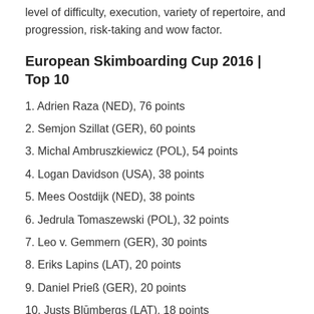level of difficulty, execution, variety of repertoire, and progression, risk-taking and wow factor.
European Skimboarding Cup 2016 | Top 10
1. Adrien Raza (NED), 76 points
2. Semjon Szillat (GER), 60 points
3. Michal Ambruszkiewicz (POL), 54 points
4. Logan Davidson (USA), 38 points
5. Mees Oostdijk (NED), 38 points
6. Jedrula Tomaszewski (POL), 32 points
7. Leo v. Gemmern (GER), 30 points
8. Eriks Lapins (LAT), 20 points
9. Daniel Prieß (GER), 20 points
10. Justs Blūmbergs (LAT), 18 points